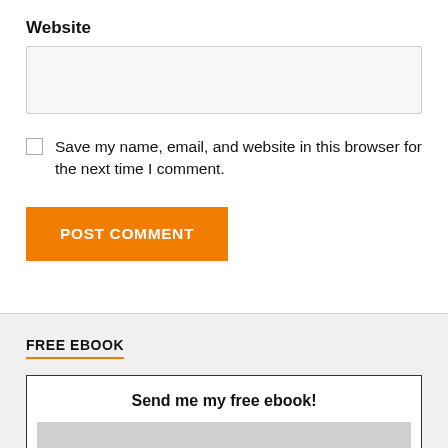Website
Save my name, email, and website in this browser for the next time I comment.
POST COMMENT
FREE EBOOK
Send me my free ebook!